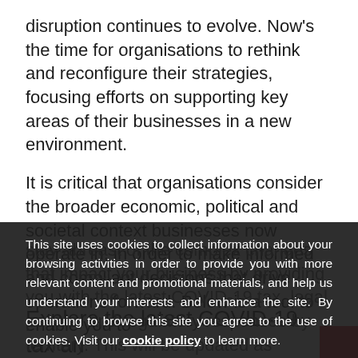disruption continues to evolve. Now's the time for organisations to rethink and reconfigure their strategies, focusing efforts on supporting key areas of their businesses in a new environment.
It is critical that organisations consider the broader economic, political and societal context businesses now operate in, in order to make informed and compliant decisions that drive operations forward. Below is a tool to enable you to stay abreast of the complex changes that impact your business by providing you with the latest COVID-19 tax, legal, people, and regulatory responses by territory. This will be updated as changes continue to evolve.
This site uses cookies to collect information about your browsing activities in order to provide you with more relevant content and promotional materials, and help us understand your interests and enhance the site. By continuing to browse this site you agree to the use of cookies. Visit our cookie policy to learn more.
Explore the latest COVID-19 tax and